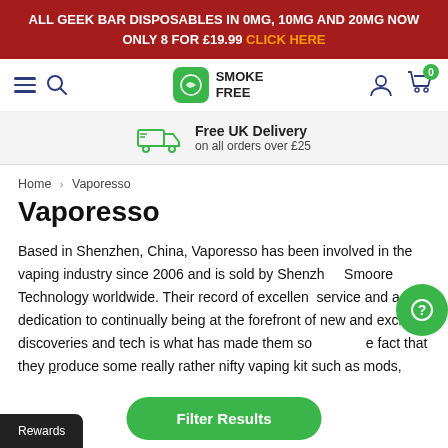ALL GEEK BAR DISPOSABLES IN 0MG, 10MG AND 20MG NOW ONLY 8 FOR £19.99 CLICK HERE
[Figure (logo): Smoke Free logo with green icon and navigation bar including hamburger menu, search icon, user icon, and cart icon with 0 badge]
Free UK Delivery on all orders over £25
Home > Vaporesso
Vaporesso
Based in Shenzhen, China, Vaporesso has been involved in the vaping industry since 2006 and is sold by Shenzhen Smoore Technology worldwide. Their record of excellent service and a dedication to continually being at the forefront of new and exciting discoveries and tech is what has made them so... fact that they produce some really rather nifty vaping kit such as mods,